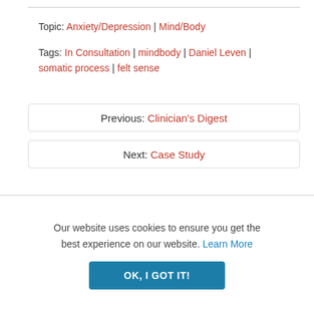Topic: Anxiety/Depression | Mind/Body
Tags: In Consultation | mindbody | Daniel Leven | somatic process | felt sense
Previous: Clinician's Digest
Next: Case Study
[Figure (other): Social media sharing icons: Facebook, Twitter, LinkedIn, Pinterest; and a print icon]
Our website uses cookies to ensure you get the best experience on our website. Learn More
OK, I GOT IT!